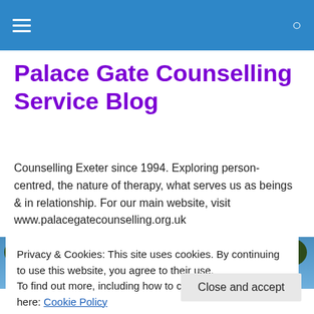Palace Gate Counselling Service Blog [navigation bar]
Palace Gate Counselling Service Blog
Counselling Exeter since 1994. Exploring person-centred, the nature of therapy, what serves us as beings & in relationship. For our main website, visit www.palacegatecounselling.org.uk
[Figure (photo): Forest scene with trees and autumn foliage in orange and yellow tones]
Privacy & Cookies: This site uses cookies. By continuing to use this website, you agree to their use.
To find out more, including how to control cookies, see here: Cookie Policy
Do Psychiatrists Harm their